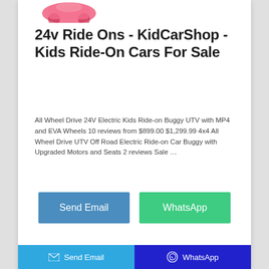[Figure (photo): Partial view of a pink kids ride-on car product image at the top of the page]
24v Ride Ons - KidCarShop - Kids Ride-On Cars For Sale
All Wheel Drive 24V Electric Kids Ride-on Buggy UTV with MP4 and EVA Wheels 10 reviews from $899.00 $1,299.99 4x4 All Wheel Drive UTV Off Road Electric Ride-on Car Buggy with Upgraded Motors and Seats 2 reviews Sale …
[Figure (other): Send Email button (blue/teal)]
[Figure (other): WhatsApp button (green)]
Send Email   WhatsApp